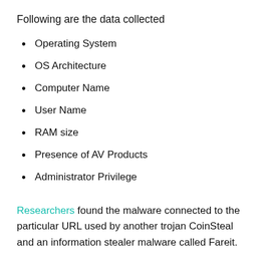Following are the data collected
Operating System
OS Architecture
Computer Name
User Name
RAM size
Presence of AV Products
Administrator Privilege
Researchers found the malware connected to the particular URL used by another trojan CoinSteal and an information stealer malware called Fareit.
Misusing of TeamViewer is not new, recently attackers used TeamViewer to deliver powerful malware that gain the victim's system control